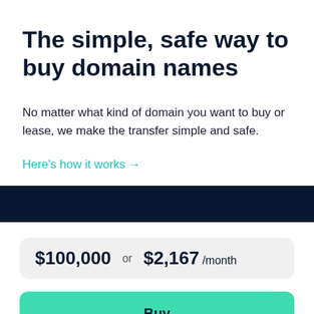The simple, safe way to buy domain names
No matter what kind of domain you want to buy or lease, we make the transfer simple and safe.
Here's how it works →
[Figure (other): Dark navy horizontal bar divider]
$100,000 or $2,167 /month
Buy